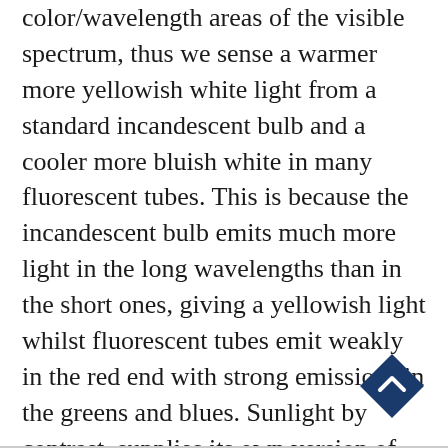color/wavelength areas of the visible spectrum, thus we sense a warmer more yellowish white light from a standard incandescent bulb and a cooler more bluish white in many fluorescent tubes. This is because the incandescent bulb emits much more light in the long wavelengths than in the short ones, giving a yellowish light whilst fluorescent tubes emit weakly in the red end with strong emissions in the greens and blues. Sunlight by contrast, supplies its own version of white light as its radiation is distributed around a broad peak in the blue-greens, tapering off on either side.